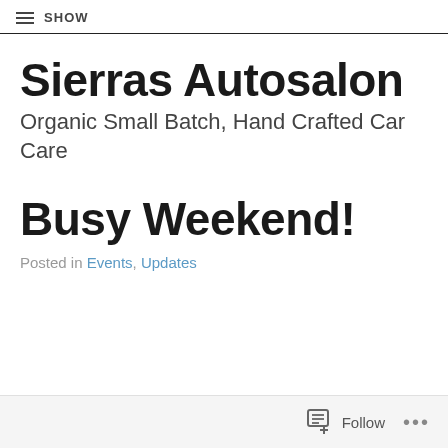≡ SHOW
Sierras Autosalon
Organic Small Batch, Hand Crafted Car Care
Busy Weekend!
Posted in Events, Updates
Follow ...